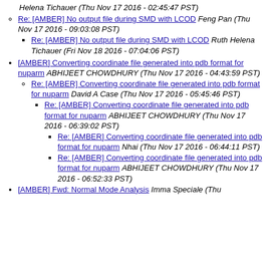Helena Tichauer (Thu Nov 17 2016 - 02:45:47 PST)
Re: [AMBER] No output file during SMD with LCOD Feng Pan (Thu Nov 17 2016 - 09:03:08 PST)
Re: [AMBER] No output file during SMD with LCOD Ruth Helena Tichauer (Fri Nov 18 2016 - 07:04:06 PST)
[AMBER] Converting coordinate file generated into pdb format for nuparm ABHIJEET CHOWDHURY (Thu Nov 17 2016 - 04:43:59 PST)
Re: [AMBER] Converting coordinate file generated into pdb format for nuparm David A Case (Thu Nov 17 2016 - 05:45:46 PST)
Re: [AMBER] Converting coordinate file generated into pdb format for nuparm ABHIJEET CHOWDHURY (Thu Nov 17 2016 - 06:39:02 PST)
Re: [AMBER] Converting coordinate file generated into pdb format for nuparm Nhai (Thu Nov 17 2016 - 06:44:11 PST)
Re: [AMBER] Converting coordinate file generated into pdb format for nuparm ABHIJEET CHOWDHURY (Thu Nov 17 2016 - 06:52:33 PST)
[AMBER] Fwd: Normal Mode Analysis Imma Speciale (Thu